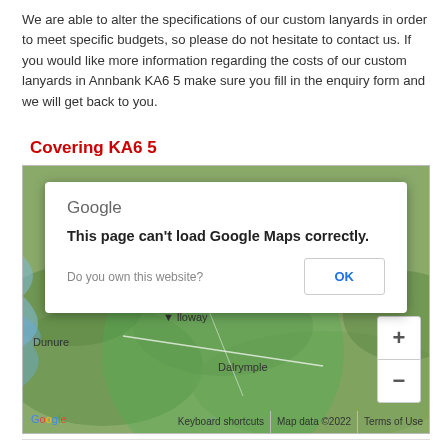We are able to alter the specifications of our custom lanyards in order to meet specific budgets, so please do not hesitate to contact us. If you would like more information regarding the costs of our custom lanyards in Annbank KA6 5 make sure you fill in the enquiry form and we will get back to you.
Covering KA6 5
[Figure (map): Google Maps embed showing area around Annbank KA6 5, Scotland. An error dialog overlays the map reading 'This page can't load Google Maps correctly.' with an OK button and 'Do you own this website?' text. The map shows locations including Ayr, Coylton, Alloway, Dunure, and Dalrymple with a green highlighted coverage circle.]